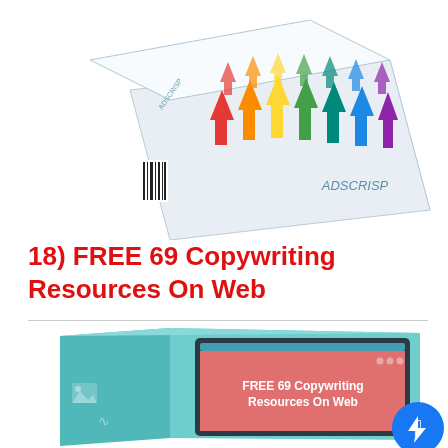[Figure (illustration): Product box illustration for ADSCRISP showing colorful upward arrows on a white box with barcode, 3D perspective view, labeled ADSCRISP]
18) FREE 69 Copywriting Resources On Web
[Figure (illustration): Product box illustration for FREE 69 Copywriting Resources On Web, showing a teal/mint colored 3D box with a monitor displaying a pink/salmon page that reads FREE 69 Copywriting Resources On Web, with a blue Messenger chat icon circle in the bottom right]